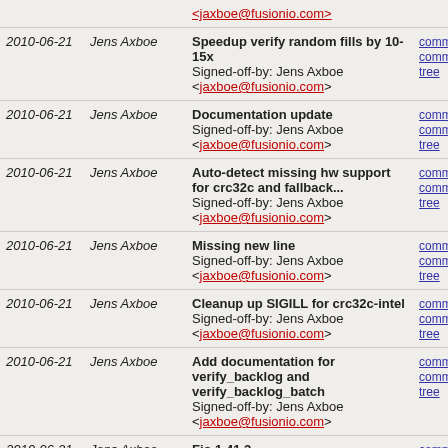| Date | Author | Commit | Links |
| --- | --- | --- | --- |
| 2010-06-21 | Jens Axboe | Speedup verify random fills by 10-15x
Signed-off-by: Jens Axboe <jaxboe@fusionio.com> | commit | commitdiff | tree |
| 2010-06-21 | Jens Axboe | Documentation update
Signed-off-by: Jens Axboe <jaxboe@fusionio.com> | commit | commitdiff | tree |
| 2010-06-21 | Jens Axboe | Auto-detect missing hw support for crc32c and fallback...
Signed-off-by: Jens Axboe <jaxboe@fusionio.com> | commit | commitdiff | tree |
| 2010-06-21 | Jens Axboe | Missing new line
Signed-off-by: Jens Axboe <jaxboe@fusionio.com> | commit | commitdiff | tree |
| 2010-06-21 | Jens Axboe | Cleanup up SIGILL for crc32c-intel
Signed-off-by: Jens Axboe <jaxboe@fusionio.com> | commit | commitdiff | tree |
| 2010-06-21 | Jens Axboe | Add documentation for verify_backlog and verify_backlog_batch
Signed-off-by: Jens Axboe <jaxboe@fusionio.com> | commit | commitdiff | tree |
| 2010-06-21 | Jens Axboe | Fio 1.41.2
Signed-off-by: Jens Axboe <jaxboe@fusionio.com> | commit | commitdiff | tree |